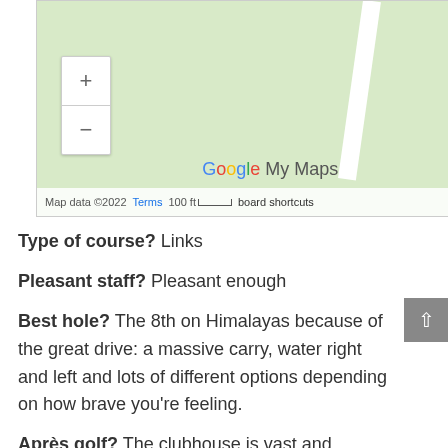[Figure (map): Google My Maps screenshot showing a light green map area with a white road/path, zoom controls (+/-), Google My Maps logo, and map footer with data credit, Terms link, scale bar, and keyboard shortcuts link.]
Type of course? Links
Pleasant staff? Pleasant enough
Best hole? The 8th on Himalayas because of the great drive: a massive carry, water right and left and lots of different options depending on how brave you’re feeling.
Après golf? The clubhouse is vast and impersonal, and in the evening we had a